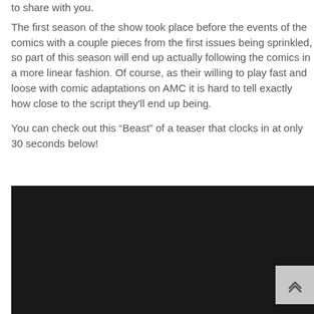to share with you.
The first season of the show took place before the events of the comics with a couple pieces from the first issues being sprinkled, so part of this season will end up actually following the comics in a more linear fashion. Of course, as their willing to play fast and loose with comic adaptations on AMC it is hard to tell exactly how close to the script they'll end up being.
You can check out this “Beast” of a teaser that clocks in at only 30 seconds below!
[Figure (screenshot): Embedded video player with dark/black background and a scroll-to-top button in the bottom right corner]